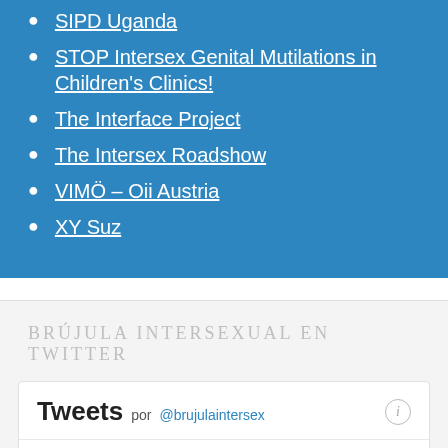SIPD Uganda
STOP Intersex Genital Mutilations in Children's Clinics!
The Interface Project
The Intersex Roadshow
VIMÖ – Oii Austria
XY Suz
Brújula Intersexual en Twitter
Tweets por @brujulaintersex
Brújula Intersexual
@brujulaintersex
Consulta y descarga nuestro Folleto sobre